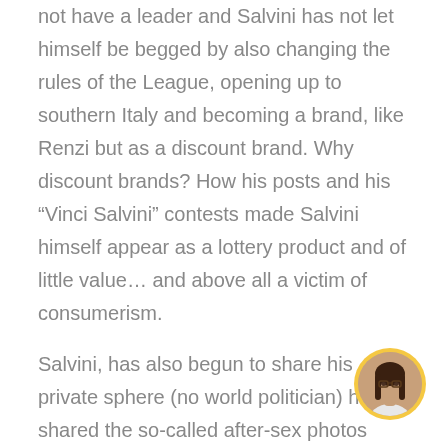not have a leader and Salvini has not let himself be begged by also changing the rules of the League, opening up to southern Italy and becoming a brand, like Renzi but as a discount brand. Why discount brands? How his posts and his “Vinci Salvini” contests made Salvini himself appear as a lottery product and of little value… and above all a victim of consumerism.
Salvini, has also begun to share his private sphere (no world politician) has shared the so-called after-sex photos Elisa Isoardi or to change girlfriends like the player and the tissue on duty. All very disposable and 50s newsboy.
The Vinci Salvini competition (like the detergent contests), the Italian Summer tour (like the singer o
[Figure (photo): Circular avatar photo of a woman with long dark hair and glasses, wearing a white top, with a golden/yellow ring border]